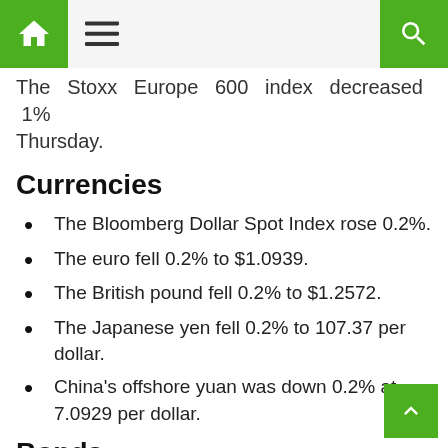[Home icon] [Menu icon] [Search icon]
The Stoxx Europe 600 index decreased 1%... Thursday.
Currencies
The Bloomberg Dollar Spot Index rose 0.2%.
The euro fell 0.2% to $1.0939.
The British pound fell 0.2% to $1.2572.
The Japanese yen fell 0.2% to 107.37 per dollar.
China's offshore yuan was down 0.2% at 7.0929 per dollar.
Bonds
The yield on 10-year Treasuries fell one basis...